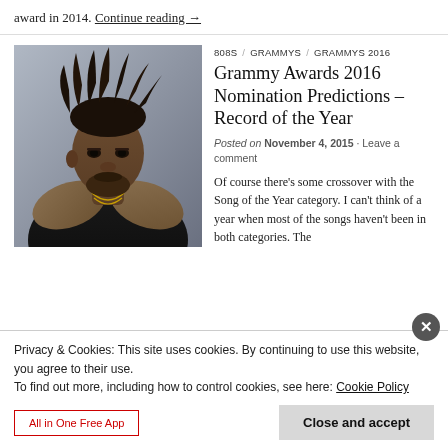award in 2014. Continue reading →
[Figure (photo): Portrait photo of a young man with dreadlocks piled on top of his head, wearing a fur-collared jacket and chain necklace, looking directly at camera against a grey background.]
808S / GRAMMYS / GRAMMYS 2016
Grammy Awards 2016 Nomination Predictions – Record of the Year
Posted on November 4, 2015 · Leave a comment
Of course there's some crossover with the Song of the Year category. I can't think of a year when most of the songs haven't been in both categories. The
Privacy & Cookies: This site uses cookies. By continuing to use this website, you agree to their use.
To find out more, including how to control cookies, see here: Cookie Policy